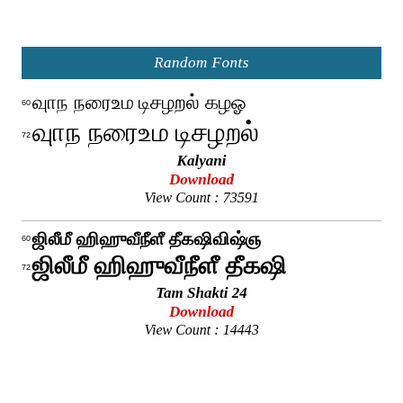Random Fonts
[Figure (illustration): Tamil font sample display at size 60: Tamil script characters]
[Figure (illustration): Tamil font sample display at size 72: Tamil script characters]
Kalyani
Download
View Count : 73591
[Figure (illustration): Tamil font sample (Tam Shakti 24) at size 60: Tamil script characters]
[Figure (illustration): Tamil font sample (Tam Shakti 24) at size 72: Tamil script characters]
Tam Shakti 24
Download
View Count : 14443